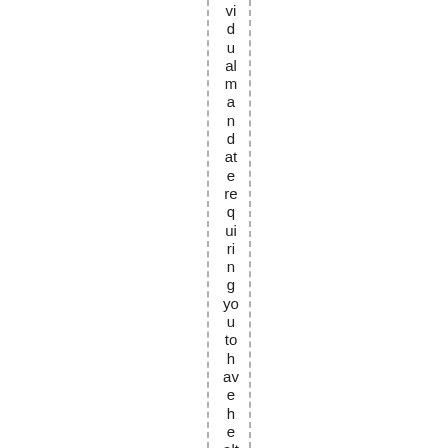vidual mandate requiring you to have health insuranc